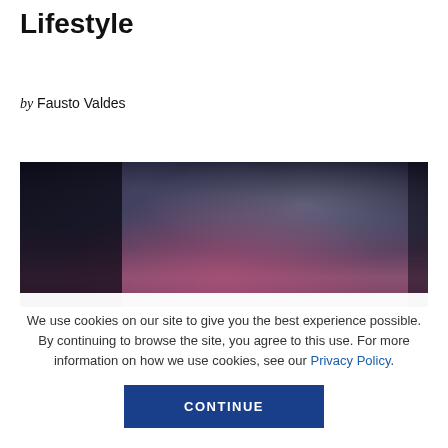Lifestyle
by Fausto Valdes
[Figure (photo): Dark moody photograph with a pink/magenta circular element in the center, dark background with dim lighting]
We use cookies on our site to give you the best experience possible. By continuing to browse the site, you agree to this use. For more information on how we use cookies, see our Privacy Policy.
CONTINUE